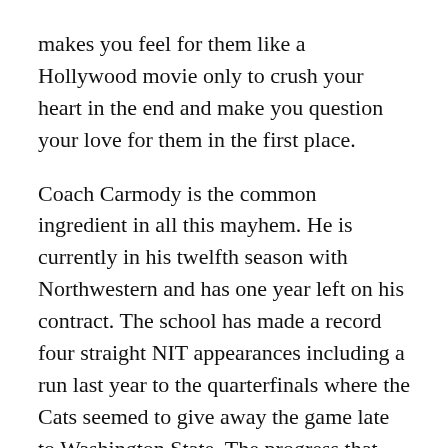makes you feel for them like a Hollywood movie only to crush your heart in the end and make you question your love for them in the first place.
Coach Carmody is the common ingredient in all this mayhem. He is currently in his twelfth season with Northwestern and has one year left on his contract. The school has made a record four straight NIT appearances including a run last year to the quarterfinals where the Cats seemed to give away the game late to Washington State. The progress that every program wants to see has stalled just like the Princeton offense with under a minute left in the clock. Carmody has gotten this program from cellar dweller to highly respectable and a dangerous team you do not want to overlook, yet Wildcat supporters want more than that.